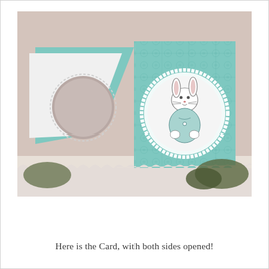[Figure (photo): A handmade greeting card opened with both sides visible. The card is teal/mint colored with a decorative pattern. On the right side, a circular scalloped-edge white frame shows a stamped bunny illustration wearing a blue outfit. On the left, a white scalloped-edge flap with a matching circular cut-out is folded open. The card sits on a white surface.]
Here is the Card, with both sides opened!